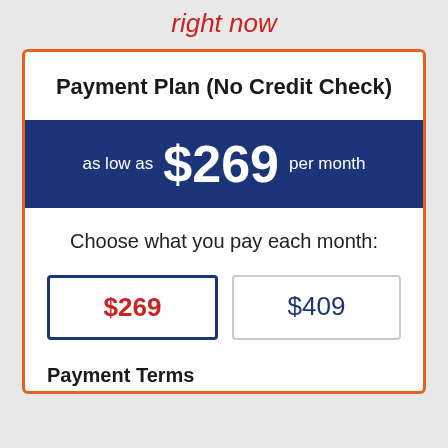right now
Payment Plan (No Credit Check)
as low as $269 per month
Choose what you pay each month:
$269
$409
Payment Terms